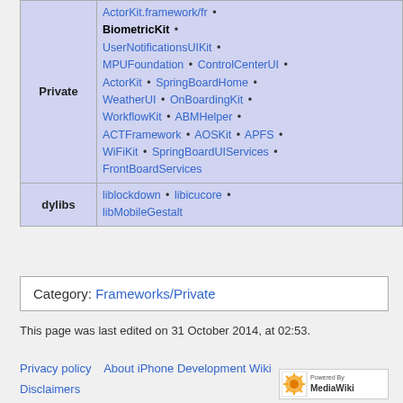|  |  |
| --- | --- |
| Private | ActorKit.framework/fr • BiometricKit • UserNotificationsUIKit • MPUFoundation • ControlCenterUI • ActorKit • SpringBoardHome • WeatherUI • OnBoardingKit • WorkflowKit • ABMHelper • ACTFramework • AOSKit • APFS • WiFiKit • SpringBoardUIServices • FrontBoardServices |
| dylibs | liblockdown • libicucore • libMobileGestalt |
Category: Frameworks/Private
This page was last edited on 31 October 2014, at 02:53.
Privacy policy   About iPhone Development Wiki
Disclaimers